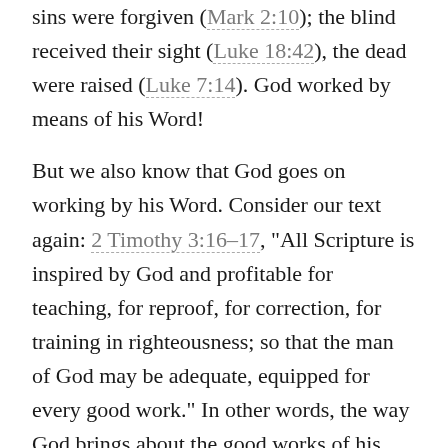sins were forgiven (Mark 2:10); the blind received their sight (Luke 18:42), the dead were raised (Luke 7:14). God worked by means of his Word!
But we also know that God goes on working by his Word. Consider our text again: 2 Timothy 3:16–17, "All Scripture is inspired by God and profitable for teaching, for reproof, for correction, for training in righteousness; so that the man of God may be adequate, equipped for every good work." In other words, the way God brings about the good works of his people is by the Word. This is why Jesus said that men will see your good works and give glory to your Father who is in heaven (Matthew 5:16). God works by his Word to do his works through his people in his world.